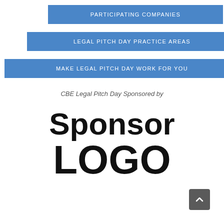PARTICIPATING COMPANIES
LEGAL PITCH DAY PRACTICE AREAS
MAKE LEGAL PITCH DAY WORK FOR YOU
CBE Legal Pitch Day Sponsored by
[Figure (logo): Sponsor LOGO placeholder text in large bold black font]